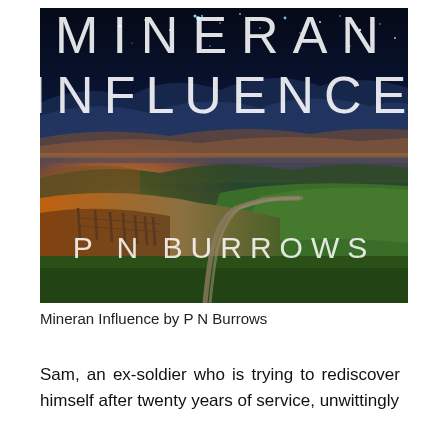[Figure (photo): Book cover of 'Mineran Influence' by P N Burrows. Dark starry sky at top transitioning to a dramatic sunset landscape with rolling hills, green fields, a winding road, and a fence line. The title 'MINERAN INFLUENCE' appears in large white spaced letters at top, and the author name 'P N BURROWS' in white at the bottom of the image.]
Mineran Influence by P N Burrows
Sam, an ex-soldier who is trying to rediscover himself after twenty years of service, unwittingly